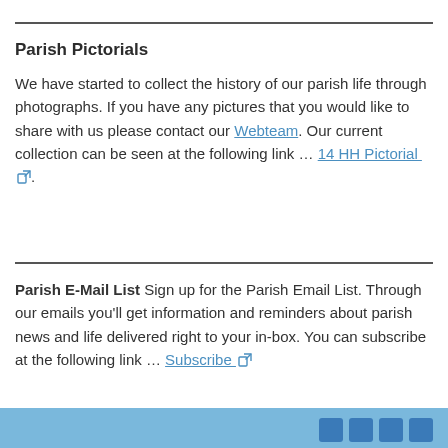Parish Pictorials
We have started to collect the history of our parish life through photographs. If you have any pictures that you would like to share with us please contact our Webteam. Our current collection can be seen at the following link … 14 HH Pictorial.
Parish E-Mail List Sign up for the Parish Email List. Through our emails you'll get information and reminders about parish news and life delivered right to your in-box. You can subscribe at the following link … Subscribe